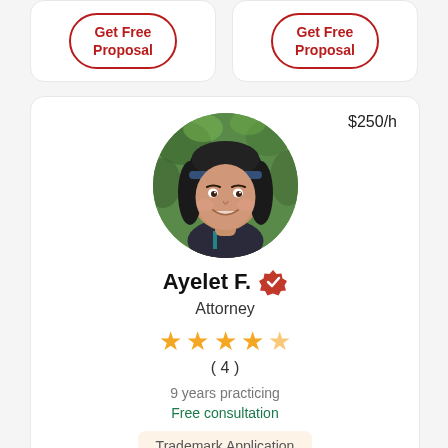[Figure (other): Two 'Get Free Proposal' button stubs at the top of two attorney cards (partially visible)]
[Figure (photo): Circular portrait photo of attorney Ayelet F., a woman with dark hair wearing a dark jacket with teal trim, photographed outdoors with green foliage background]
$250/h
Ayelet F. [verified badge] Attorney
★★★★☆ (4)
9 years practicing
Free consultation
Trademark Application
Get Free Proposal (button, partially visible)